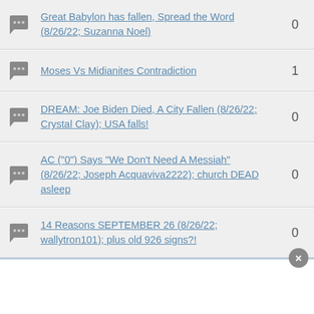Great Babylon has fallen, Spread the Word (8/26/22; Suzanna Noel)
Moses Vs Midianites Contradiction
DREAM: Joe Biden Died, A City Fallen (8/26/22; Crystal Clay); USA falls!
AC ("0") Says "We Don't Need A Messiah" (8/26/22; Joseph Acquaviva2222); church DEAD asleep
14 Reasons SEPTEMBER 26 (8/26/22; wallytron101); plus old 926 signs?!